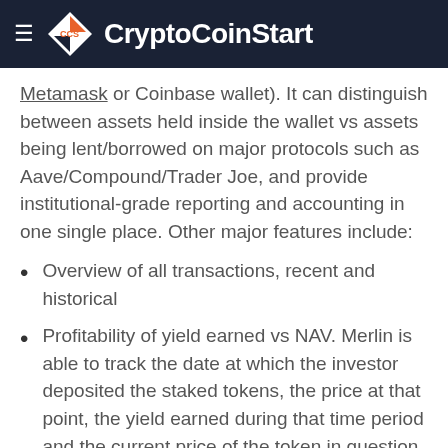CryptoCoinStart
Metamask or Coinbase wallet). It can distinguish between assets held inside the wallet vs assets being lent/borrowed on major protocols such as Aave/Compound/Trader Joe, and provide institutional-grade reporting and accounting in one single place. Other major features include:
Overview of all transactions, recent and historical
Profitability of yield earned vs NAV. Merlin is able to track the date at which the investor deposited the staked tokens, the price at that point, the yield earned during that time period and the current price of the token in question. This way, it can